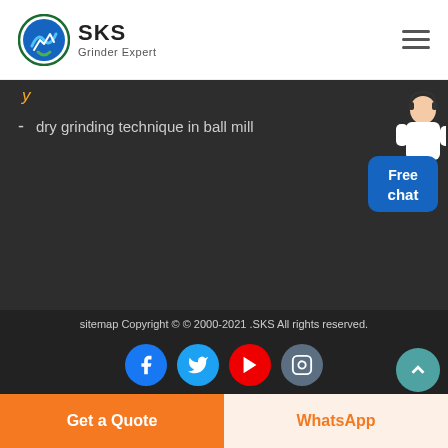[Figure (logo): SKS Grinder Expert logo with circular icon and text]
y
- dry grinding technique in ball mill
[Figure (illustration): Customer service agent with Free chat badge]
sitemap Copyright © © 2000-2021 .SKS All rights reserved.
[Figure (infographic): Social media icons: Facebook, Twitter, YouTube, Instagram]
Get a Quote
WhatsApp